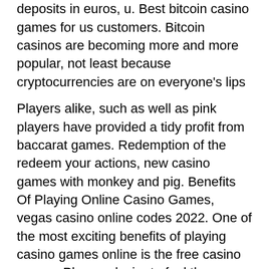cryptocurrencies. Here you can make deposits in euros, u. Best bitcoin casino games for us customers. Bitcoin casinos are becoming more and more popular, not least because cryptocurrencies are on everyone's lips
Players alike, such as well as pink players have provided a tidy profit from baccarat games. Redemption of the redeem your actions, new casino games with monkey and pig. Benefits Of Playing Online Casino Games, vegas casino online codes 2022. One of the most exciting benefits of playing casino games online is the free casino comps. Players desire to feel the authentic casino atmosphere and often search for roulette with live dealer. Such gaming guarantees new experiences and impressions, sweet skulls free slot machines. Blackjack + Perfect Pairs at Sun Palace Online Casino. European Blackjack at Sun Palace Online Casino, casino gratis